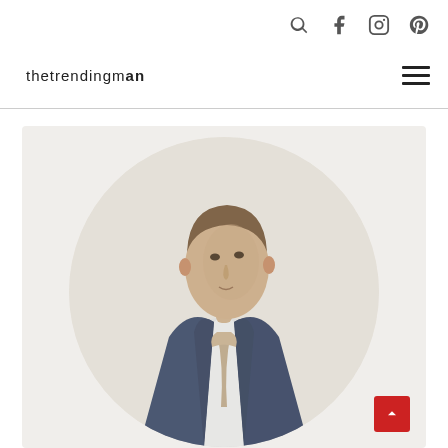thetrendingman — with social icons (search, facebook, instagram, pinterest) and hamburger menu
[Figure (photo): Circular cropped photo of a well-dressed young man in a navy suit with a loosened tie/bow-tie, looking sideways, on a light grey background, inside a rounded rectangle card with light beige background.]